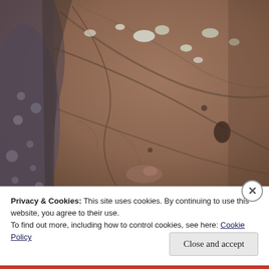[Figure (photo): Close-up photograph of a large weathered rock surface with reddish-brown and grey tones, showing lichen patches (white/green spots), cracks, pits, and irregular texture. The left edge shows gravel or small stones on the ground.]
Privacy & Cookies: This site uses cookies. By continuing to use this website, you agree to their use.
To find out more, including how to control cookies, see here: Cookie Policy
Close and accept